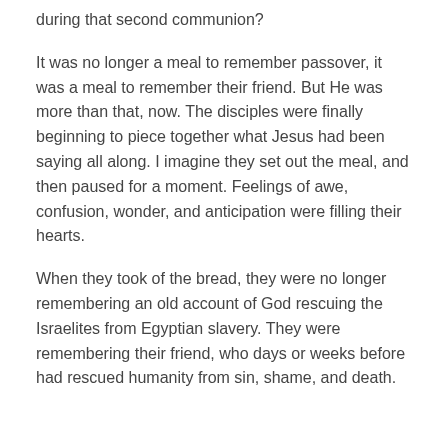…ascension of Jesus, what the disciples experienced during that second communion?
It was no longer a meal to remember passover, it was a meal to remember their friend. But He was more than that, now.  The disciples were finally beginning to piece together what Jesus had been saying all along.  I imagine they set out the meal, and then paused for a moment.  Feelings of awe, confusion, wonder, and anticipation were filling their hearts.
When they took of the bread, they were no longer remembering an old account of God rescuing the Israelites from Egyptian slavery.  They were remembering their friend, who days or weeks before had rescued humanity from sin, shame, and death.